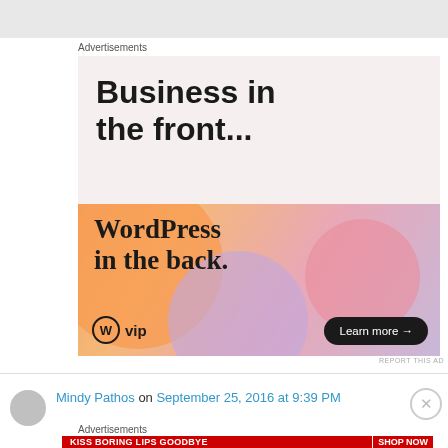[Figure (screenshot): Top gray bar area of a webpage screenshot]
Advertisements
[Figure (screenshot): WordPress VIP advertisement: 'Business in the front... WordPress in the back.' with Learn more button and WP VIP logo on colorful gradient background]
REPORT THIS AD
Mindy Pathos on September 25, 2016 at 9:39 PM
Advertisements
[Figure (screenshot): Macy's advertisement: KISS BORING LIPS GOODBYE - SHOP NOW with woman's face and Macy's logo]